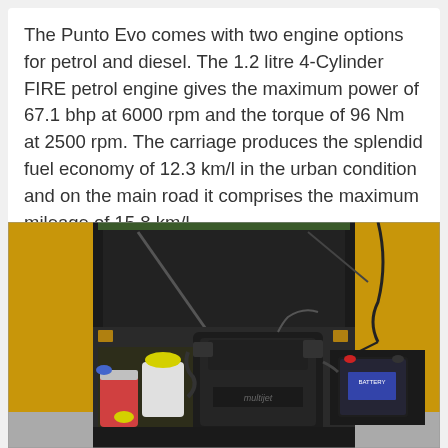The Punto Evo comes with two engine options for petrol and diesel. The 1.2 litre 4-Cylinder FIRE petrol engine gives the maximum power of 67.1 bhp at 6000 rpm and the torque of 96 Nm at 2500 rpm. The carriage produces the splendid fuel economy of 12.3 km/l in the urban condition and on the main road it comprises the maximum mileage of 15.8 km/l.
[Figure (photo): Under-hood engine bay photo of a Fiat Punto Evo showing the 1.2 litre FIRE petrol engine with yellow bodywork visible on the sides, black engine cover, fluid reservoirs on the left, and a battery on the right.]